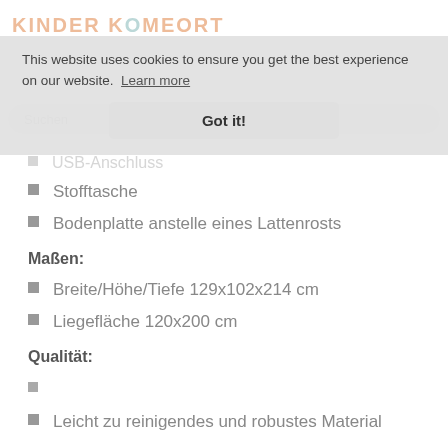KINDER KOMFORT
This website uses cookies to ensure you get the best experience on our website. Learn more
Got it!
Suchen
USB-Anschluss
Stofftasche
Bodenplatte anstelle eines Lattenrosts
Maßen:
Breite/Höhe/Tiefe 129x102x214 cm
Liegefläche 120x200 cm
Qualität:
Leicht zu reinigendes und robustes Material